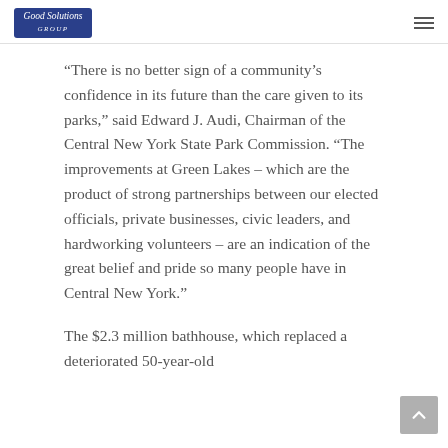Good Solutions Group
“There is no better sign of a community’s confidence in its future than the care given to its parks,” said Edward J. Audi, Chairman of the Central New York State Park Commission. “The improvements at Green Lakes – which are the product of strong partnerships between our elected officials, private businesses, civic leaders, and hardworking volunteers – are an indication of the great belief and pride so many people have in Central New York.”
The $2.3 million bathhouse, which replaced a deteriorated 50-year-old